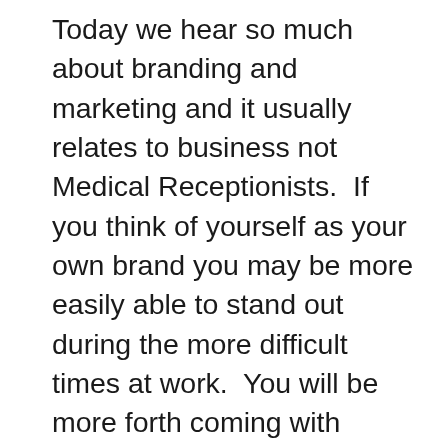Today we hear so much about branding and marketing and it usually relates to business not Medical Receptionists.  If you think of yourself as your own brand you may be more easily able to stand out during the more difficult times at work.  You will be more forth coming with solutions and suggestions.  What do you think? What do you think of your work performance? Are you living up to the standards that you set for yourself.  Have you been meeting your own expectations in regards to